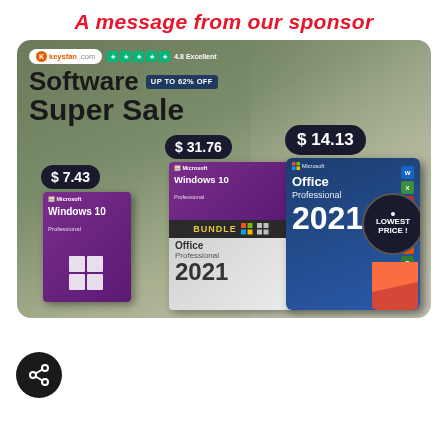A message from our sponsor
[Figure (infographic): Software Super Sale advertisement banner for keysfan.com showing three products: Windows 10 Professional at $7.43, Windows 10 Professional + Office Professional 2021 Bundle at $31.76, and Office Professional 2021 at $14.13 (lowest price). Up to 62% off. Keysfan.com with 4.8 Excellent rating.]